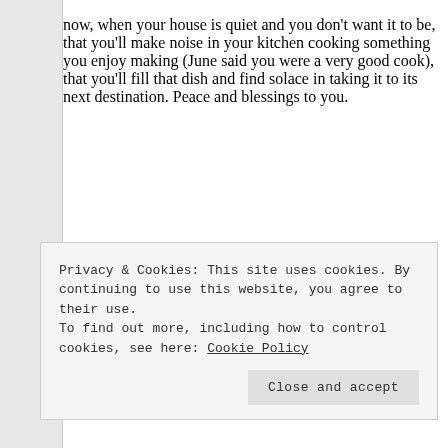now, when your house is quiet and you don't want it to be, that you'll make noise in your kitchen cooking something you enjoy making (June said you were a very good cook), that you'll fill that dish and find solace in taking it to its next destination. Peace and blessings to you.
Privacy & Cookies: This site uses cookies. By continuing to use this website, you agree to their use. To find out more, including how to control cookies, see here: Cookie Policy